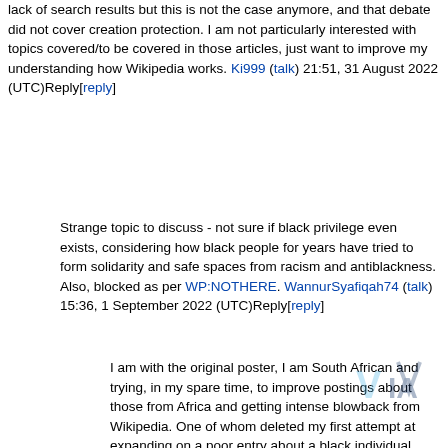lack of search results but this is not the case anymore, and that debate did not cover creation protection. I am not particularly interested with topics covered/to be covered in those articles, just want to improve my understanding how Wikipedia works. Ki999 (talk) 21:51, 31 August 2022 (UTC)Reply[reply]
Strange topic to discuss - not sure if black privilege even exists, considering how black people for years have tried to form solidarity and safe spaces from racism and antiblackness. Also, blocked as per WP:NOTHERE. WannurSyafiqah74 (talk) 15:36, 1 September 2022 (UTC)Reply[reply]
I am with the original poster, I am South African and trying, in my spare time, to improve postings about those from Africa and getting intense blowback from Wikipedia. One of whom deleted my first attempt at expanding on a poor entry about a black individual despite me being very careful to note endless citations (my background is as an award-winning author, journalist and documentary film maker, so I am accustomed to ethical, bland writing). I teach and am aware of suggestions never to use Wikipedia as a source, even though I teach my students to do this, so I am interested in improving Wikipedia content by writing scholarly...